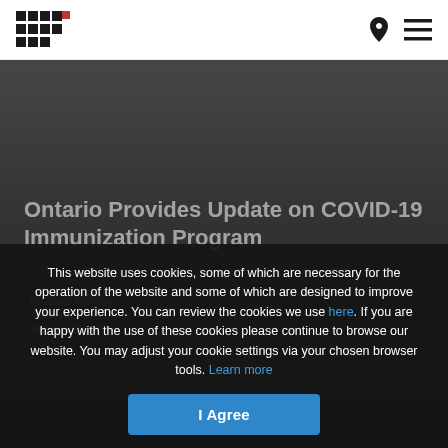HHC [logo] | location icon | menu icon
[Figure (photo): Dark background photo of a person, likely a medical/healthcare setting, used as hero image behind article title]
Ontario Provides Update on COVID-19 Immunization Program
by Isaac Ransom
Account Director
January 19, 2021
This website uses cookies, some of which are necessary for the operation of the website and some of which are designed to improve your experience. You can review the cookies we use here. If you are happy with the use of these cookies please continue to browse our website. You may adjust your cookie settings via your chosen browser tools. Learn more
I Agree